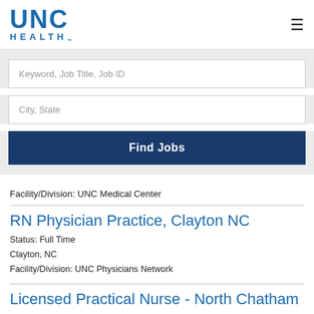[Figure (logo): UNC Health logo with blue UNC text and HEALTH below]
Keyword, Job Title, Job ID
City, State
Find Jobs
Facility/Division: UNC Medical Center
RN Physician Practice, Clayton NC
Status: Full Time
Clayton, NC
Facility/Division: UNC Physicians Network
Licensed Practical Nurse - North Chatham